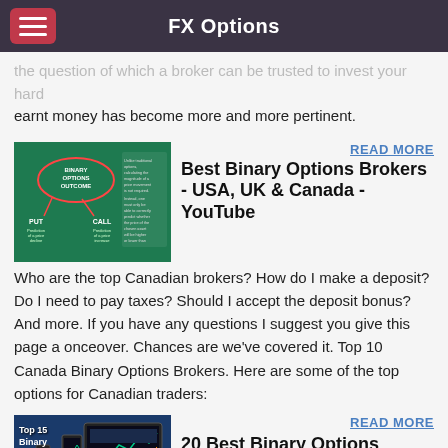FX Options
the question of which brokers can be trusted to invest your hard earnt money has become more and more pertinent.
[Figure (illustration): Binary Options Outcome diagram showing PUT and CALL paths on a green background]
READ MORE
Best Binary Options Brokers - USA, UK & Canada - YouTube
Who are the top Canadian brokers? How do I make a deposit? Do I need to pay taxes? Should I accept the deposit bonus? And more. If you have any questions I suggest you give this page a onceover. Chances are we've covered it. Top 10 Canada Binary Options Brokers. Here are some of the top options for Canadian traders:
[Figure (screenshot): Top 15 Binary Options Brokers screenshot with trading charts]
READ MORE
20 Best Binary Options Brokers (Updated January